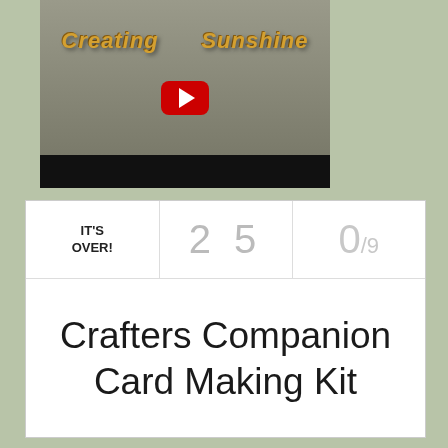[Figure (screenshot): YouTube video thumbnail showing 'Creating Sunshine' channel logo with YouTube play button, grey/brown background, black bar at bottom]
| IT'S OVER! | 2 5 | 0/9 |
| --- | --- | --- |
Crafters Companion Card Making Kit